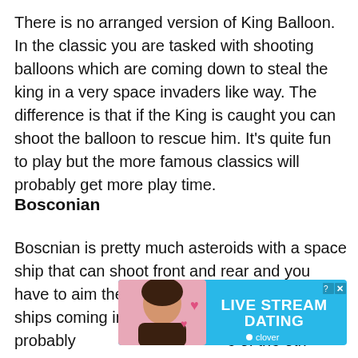There is no arranged version of King Balloon. In the classic you are tasked with shooting balloons which are coming down to steal the king in a very space invaders like way. The difference is that if the King is caught you can shoot the balloon to rescue him. It's quite fun to play but the more famous classics will probably get more play time.
Bosconian
Boscnian is pretty much asteroids with a space ship that can shoot front and rear and you have to aim the ship to hit the asteroids and ships coming into hit it. Again it's pro[bably not going to get as much time as some] of the oth[er games...]
[Figure (other): Advertisement banner for Live Stream Dating by Clover app, with a photo of a woman and heart emojis on a blue background]